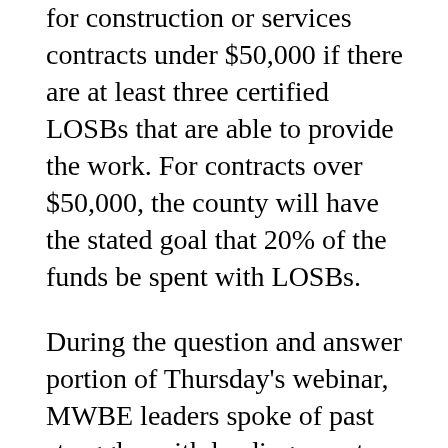for construction or services contracts under $50,000 if there are at least three certified LOSBs that are able to provide the work. For contracts over $50,000, the county will have the stated goal that 20% of the funds be spent with LOSBs.
During the question and answer portion of Thursday's webinar, MWBE leaders spoke of past struggles with landing county contracts and sought information on how they can be more involved.
“How do we actually become a voice that’s heard when the people that have been providing those services for years and